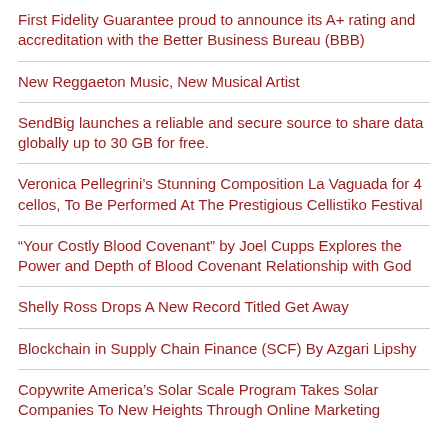First Fidelity Guarantee proud to announce its A+ rating and accreditation with the Better Business Bureau (BBB)
New Reggaeton Music, New Musical Artist
SendBig launches a reliable and secure source to share data globally up to 30 GB for free.
Veronica Pellegrini’s Stunning Composition La Vaguada for 4 cellos, To Be Performed At The Prestigious Cellistiko Festival
“Your Costly Blood Covenant” by Joel Cupps Explores the Power and Depth of Blood Covenant Relationship with God
Shelly Ross Drops A New Record Titled Get Away
Blockchain in Supply Chain Finance (SCF) By Azgari Lipshy
Copywrite America’s Solar Scale Program Takes Solar Companies To New Heights Through Online Marketing